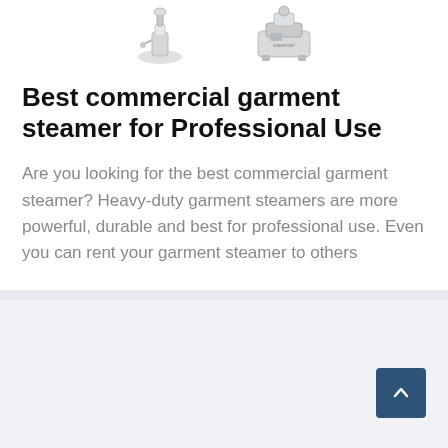[Figure (photo): Two commercial garment steamer product images shown side by side at the top of the page]
Best commercial garment steamer for Professional Use
Are you looking for the best commercial garment steamer? Heavy-duty garment steamers are more powerful, durable and best for professional use. Even you can rent your garment steamer to others